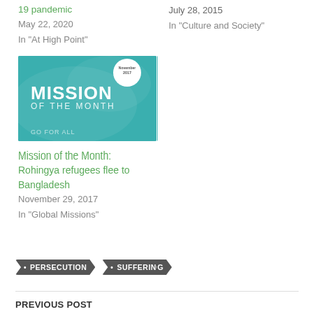19 pandemic
May 22, 2020
In "At High Point"
July 28, 2015
In "Culture and Society"
[Figure (photo): Mission of the Month banner image with teal background showing world map overlay, large white text 'MISSION OF THE MONTH', small circular badge in top right corner, and text 'GO ... FOR ALL' at bottom]
Mission of the Month: Rohingya refugees flee to Bangladesh
November 29, 2017
In "Global Missions"
• PERSECUTION
• SUFFERING
PREVIOUS POST